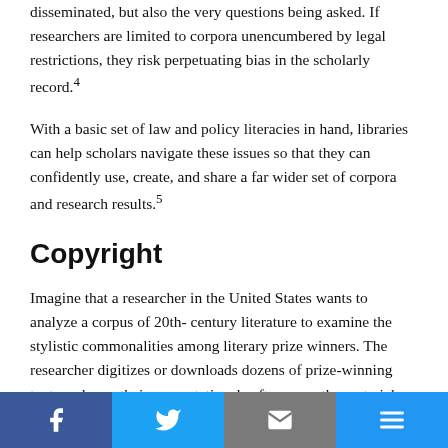disseminated, but also the very questions being asked. If researchers are limited to corpora unencumbered by legal restrictions, they risk perpetuating bias in the scholarly record.4
With a basic set of law and policy literacies in hand, libraries can help scholars navigate these issues so that they can confidently use, create, and share a far wider set of corpora and research results.5
Copyright
Imagine that a researcher in the United States wants to analyze a corpus of 20th- century literature to examine the stylistic commonalities among literary prize winners. The researcher digitizes or downloads dozens of prize-winning texts and runs their computational software on the materials. They